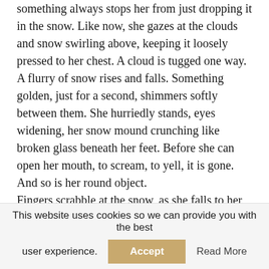something always stops her from just dropping it in the snow. Like now, she gazes at the clouds and snow swirling above, keeping it loosely pressed to her chest. A cloud is tugged one way. A flurry of snow rises and falls. Something golden, just for a second, shimmers softly between them. She hurriedly stands, eyes widening, her snow mound crunching like broken glass beneath her feet. Before she can open her mouth, to scream, to yell, it is gone. And so is her round object.
Fingers scrabble at the snow, as she falls to her knees and throws herself onto the ice, eyes already clouding with tears. Her head rings with pain, with something
This website uses cookies so we can provide you with the best user experience.
Accept
Read More